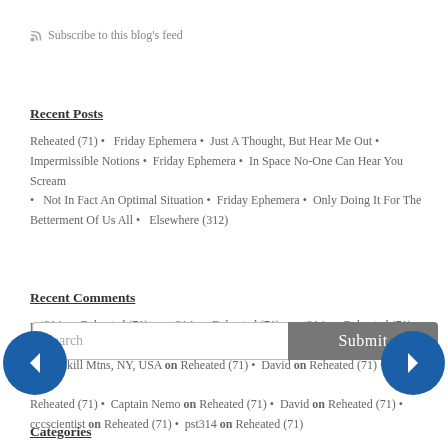Subscribe to this blog's feed
Recent Posts
Reheated (71) • Friday Ephemera • Just A Thought, But Hear Me Out • Impermissible Notions • Friday Ephemera • In Space No-One Can Hear You Scream • Not In Fact An Optimal Situation • Friday Ephemera • Only Doing It For The Betterment Of Us All • Elsewhere (312)
Recent Comments
pst314 on Reheated (71) • pst314 on Reheated (71) • pst314 on Reheated (71) • Ted S., Catskill Mtns, NY, USA on Reheated (71) • David on Reheated (71) • David on Reheated (71) • Captain Nemo on Reheated (71) • David on Reheated (71) • cccscientist on Reheated (71) • pst314 on Reheated (71)
Categories